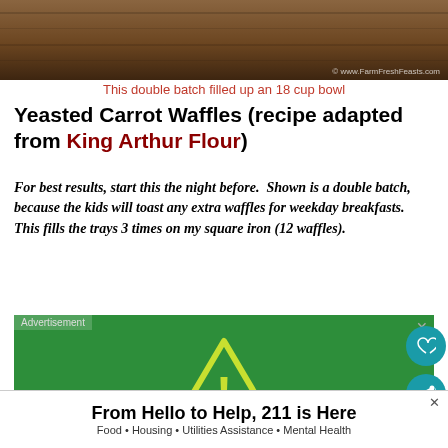[Figure (photo): Top portion of a food photo showing a wooden bowl, partially cropped. Watermark reads '© www.FarmFreshFeasts.com']
This double batch filled up an 18 cup bowl
Yeasted Carrot Waffles (recipe adapted from King Arthur Flour)
For best results, start this the night before.  Shown is a double batch, because the kids will toast any extra waffles for weekday breakfasts.  This fills the trays 3 times on my square iron (12 waffles).
[Figure (screenshot): Green advertisement banner reading 'Gun violence is preventable when you "know the signs".' with a yellow warning triangle icon. Labeled 'Advertisement' with an X close button.]
[Figure (screenshot): White bottom banner reading 'From Hello to Help, 211 is Here' with subtitle 'Food • Housing • Utilities Assistance • Mental Health'. Has an X close button.]